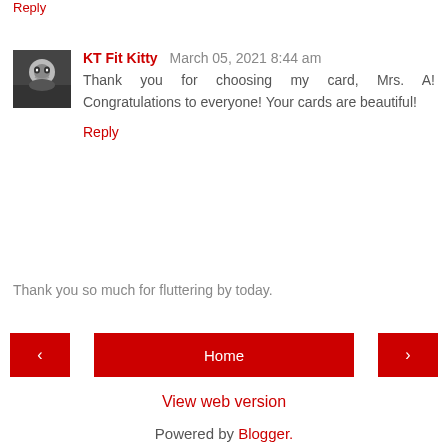Reply
KT Fit Kitty  March 05, 2021 8:44 am
Thank you for choosing my card, Mrs. A! Congratulations to everyone! Your cards are beautiful!
Reply
Thank you so much for fluttering by today.
‹   Home   ›
View web version
Powered by Blogger.